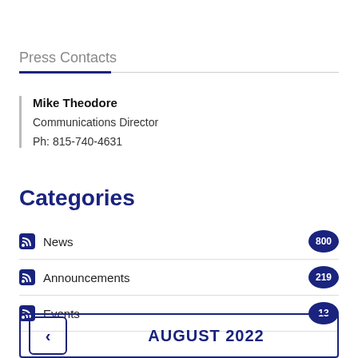Press Contacts
Mike Theodore
Communications Director
Ph: 815-740-4631
Categories
News 800
Announcements 219
Events 13
AUGUST 2022